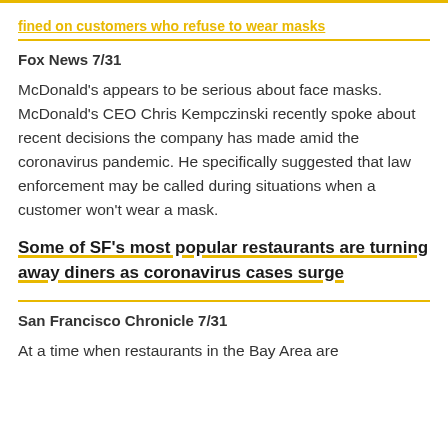fined on customers who refuse to wear masks
Fox News 7/31
McDonald's appears to be serious about face masks. McDonald's CEO Chris Kempczinski recently spoke about recent decisions the company has made amid the coronavirus pandemic. He specifically suggested that law enforcement may be called during situations when a customer won't wear a mask.
Some of SF's most popular restaurants are turning away diners as coronavirus cases surge
San Francisco Chronicle 7/31
At a time when restaurants in the Bay Area are